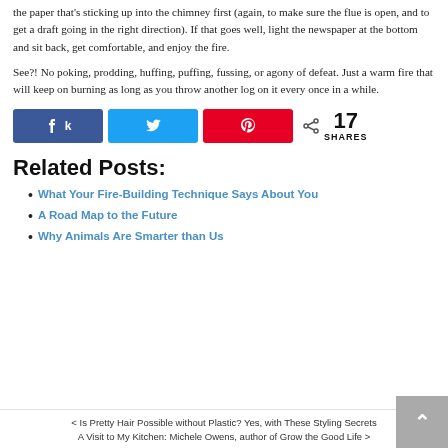the paper that's sticking up into the chimney first (again, to make sure the flue is open, and to get a draft going in the right direction). If that goes well, light the newspaper at the bottom and sit back, get comfortable, and enjoy the fire.
See?! No poking, prodding, huffing, puffing, fussing, or agony of defeat. Just a warm fire that will keep on burning as long as you throw another log on it every once in a while.
[Figure (infographic): Social share buttons: Facebook (k icon), Twitter (bird icon), Pinterest (P icon), and a share count showing 17 SHARES]
Related Posts:
What Your Fire-Building Technique Says About You
A Road Map to the Future
Why Animals Are Smarter than Us
< Is Pretty Hair Possible without Plastic? Yes, with These Styling Secrets
A Visit to My Kitchen: Michele Owens, author of Grow the Good Life >